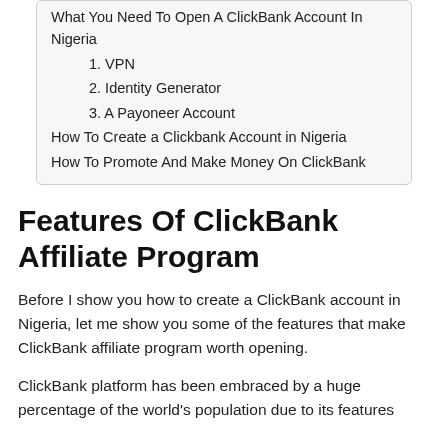What You Need To Open A ClickBank Account In Nigeria
1. VPN
2. Identity Generator
3. A Payoneer Account
How To Create a Clickbank Account in Nigeria
How To Promote And Make Money On ClickBank
Features Of ClickBank Affiliate Program
Before I show you how to create a ClickBank account in Nigeria, let me show you some of the features that make ClickBank affiliate program worth opening.
ClickBank platform has been embraced by a huge percentage of the world's population due to its features